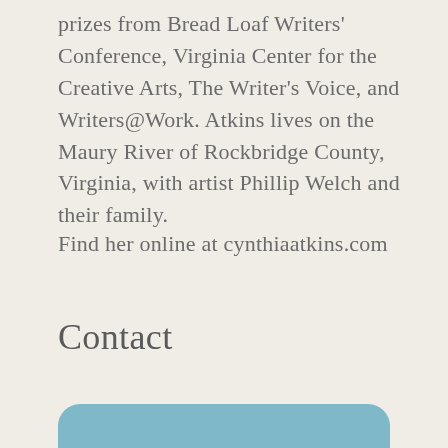prizes from Bread Loaf Writers' Conference, Virginia Center for the Creative Arts, The Writer's Voice, and Writers@Work. Atkins lives on the Maury River of Rockbridge County, Virginia, with artist Phillip Welch and their family.
Find her online at cynthiaatkins.com
Contact
[Figure (other): Rounded button/UI element in muted blue at bottom of page]